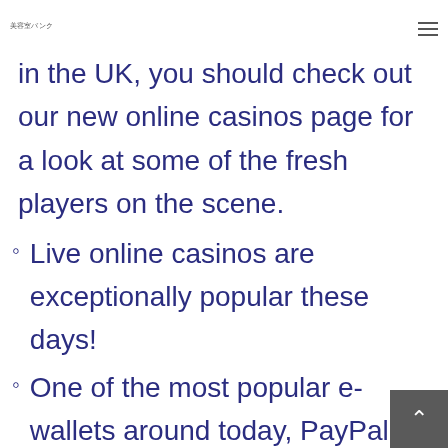美容室バンク
in the UK, you should check out our new online casinos page for a look at some of the fresh players on the scene.
Live online casinos are exceptionally popular these days!
One of the most popular e-wallets around today, PayPal is a safe and reliable option that many online gamblers prefer.
Therefore, an easy-to-use mobile